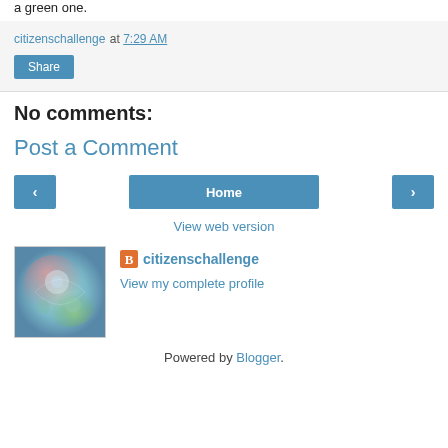a green one.
citizenschallenge at 7:29 AM
Share
No comments:
Post a Comment
‹ Home ›
View web version
citizenschallenge
View my complete profile
Powered by Blogger.